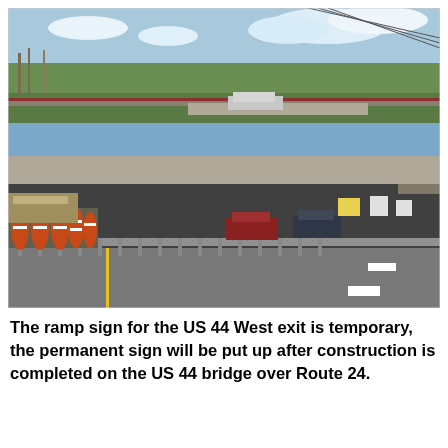[Figure (photo): Highway overpass bridge under construction. Orange construction barrels line the left side of the road under the concrete bridge. Several cars are visible passing under the bridge. Bare trees and power lines are visible in the background under a partly cloudy sky.]
The ramp sign for the US 44 West exit is temporary, the permanent sign will be put up after construction is completed on the US 44 bridge over Route 24.